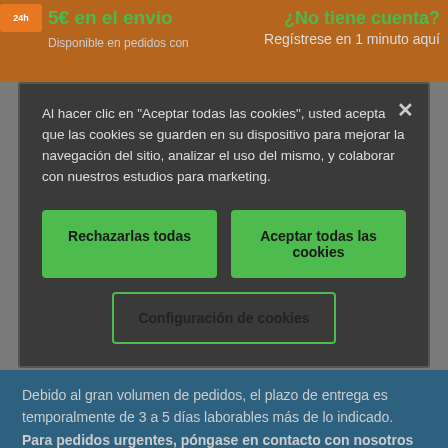[Figure (screenshot): Top banner with orange background showing truck icon, '5€ en el envío' in green, 'Disponible en pedidos con' in gray, and right side '¿No tiene cuenta?' in green, 'Regístrese en 1 minuto aquí' in gray]
Al hacer clic en "Aceptar todas las cookies", usted acepta que las cookies se guarden en su dispositivo para mejorar la navegación del sitio, analizar el uso del mismo, y colaborar con nuestros estudios para marketing.
Rechazarlas todas
Aceptar todas las cookies
Configuración de cookies
Debido al gran volumen de pedidos, el plazo de entrega es temporalmente de 3 a 5 días laborables más de lo indicado. Para pedidos urgentes, póngase en contacto con nosotros para que podamos concretar el plazo de entrega necesario para usted. Encontrará su persona de contacto en esta página.